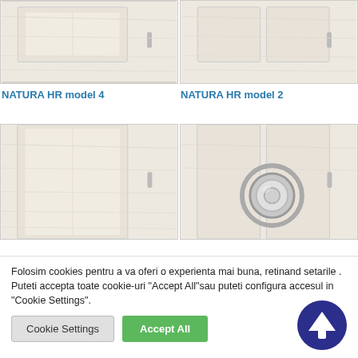[Figure (photo): Photo of a white wooden door panel - NATURA HR model 4, top portion]
[Figure (photo): Photo of a white wooden door panel - NATURA HR model 2, top portion]
NATURA HR model 4
NATURA HR model 2
[Figure (photo): Photo of a white wooden door panel - lower section]
[Figure (photo): Photo of a white wooden door panel with round metal ring detail - lower section]
Folosim cookies pentru a va oferi o experienta mai buna, retinand setarile . Puteti accepta toate cookie-uri "Accept All"sau puteti configura accesul in "Cookie Settings".